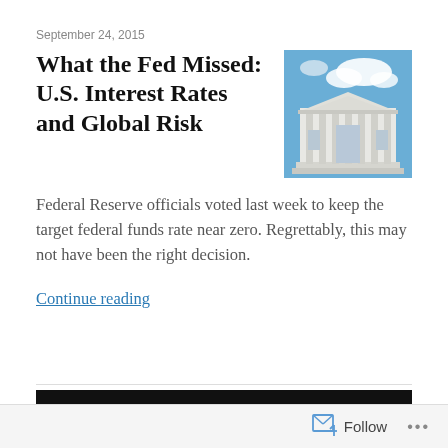September 24, 2015
What the Fed Missed: U.S. Interest Rates and Global Risk
[Figure (photo): Photograph of the Federal Reserve building with blue sky and clouds in background]
Federal Reserve officials voted last week to keep the target federal funds rate near zero. Regrettably, this may not have been the right decision.
Continue reading
OLDER POSTS
Follow   ...